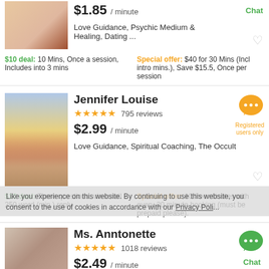$1.85 / minute
Chat
Love Guidance, Psychic Medium & Healing, Dating ...
$10 deal: 10 Mins, Once a session, Includes into 3 mins
Special offer: $40 for 30 Mins (Incl intro mins.), Save $15.5, Once per session
Jennifer Louise
★★★★★ 795 reviews
$2.99 / minute
Love Guidance, Spiritual Coaching, The Occult
$10 deal: Three questions, via email - 250 word (min.) reply
Special offer: 10 free minutes with every 30 minute booking (must be prepaid please).
Ms. Anntonette
★★★★★ 1018 reviews
$2.49 / minute
Chat